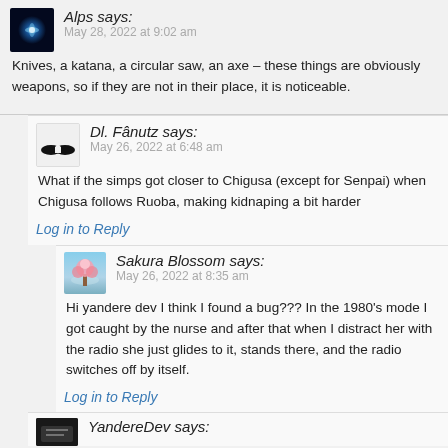[Figure (photo): Alps user avatar – blue glowing circular image]
Alps says:
May 28, 2022 at 9:02 am
Knives, a katana, a circular saw, an axe – these things are obviously weapons, so if they are not in their place, it is noticeable.
[Figure (photo): Dl. Fânutz user avatar – black mustache icon on white background]
Dl. Fânutz says:
May 26, 2022 at 6:48 am
What if the simps got closer to Chigusa (except for Senpai) when Chigusa follows Ruoba, making kidnaping a bit harder
Log in to Reply
[Figure (photo): Sakura Blossom user avatar – pink cherry blossom tree reflecting in water]
Sakura Blossom says:
May 26, 2022 at 8:35 am
Hi yandere dev I think I found a bug??? In the 1980's mode I got caught by the nurse and after that when I distract her with the radio she just glides to it, stands there, and the radio switches off by itself.
Log in to Reply
[Figure (photo): YandereDev user avatar – partial, cut off at bottom]
YandereDev says: